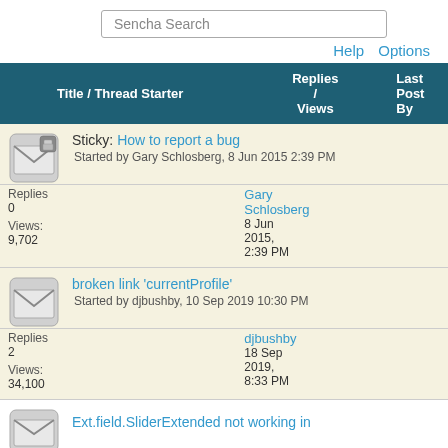Sencha Search
Help  Options
| Title / Thread Starter | Replies / Views | Last Post By |
| --- | --- | --- |
| Sticky: How to report a bug
Started by Gary Schlosberg, 8 Jun 2015 2:39 PM | Replies: 0
Views: 9,702 | Gary Schlosberg
8 Jun 2015, 2:39 PM |
| broken link 'currentProfile'
Started by djbushby, 10 Sep 2019 10:30 PM | Replies: 2
Views: 34,100 | djbushby
18 Sep 2019, 8:33 PM |
| Ext.field.SliderExtended not working in |  |  |